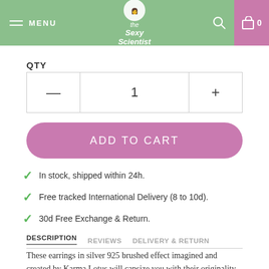MENU | The Sexy Scientist | 0
QTY
1
ADD TO CART
In stock, shipped within 24h.
Free tracked International Delivery (8 to 10d).
30d Free Exchange & Return.
DESCRIPTION   REVIEWS   DELIVERY & RETURN
These earrings in silver 925 brushed effect imagined and created by Karma Lotus will capsize you with their originality and their poetry. Their heart shape and this couple of birds in love in 18 carat gold plated (750) plated at the center of each loop add color and a touch